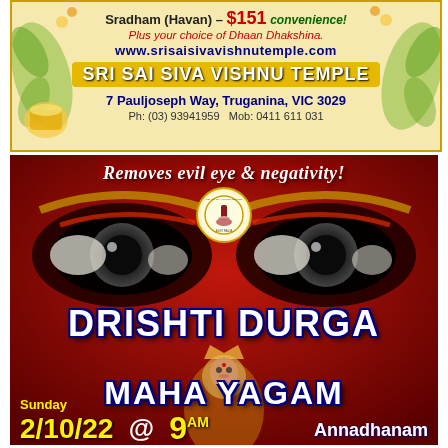[Figure (infographic): Sri Sai Siva Vishnu Temple advertisement banner. Yellow/cream background with decorative floral border. Text: 'Sradham (Havan) - $151 convenience! Plus your choice of Dhaan Dhakshina. www.srisaisivavishnutemple.com SRI SAI SIVA VISHNU TEMPLE 7 Pauljoseph Way, Truganina, VIC 3029 Ph: (03) 93941959 Mob: 0411 611 031']
[Figure (infographic): Drishti Durga Maha Yagam event advertisement on dark red background with image of Durga deity eyes and goddess figure. Text: 'Removes evil eye & negativity! DRISHTI DURGA MAHA YAGAM Sunday 2/10/22 @ 9AM Annadhanam']